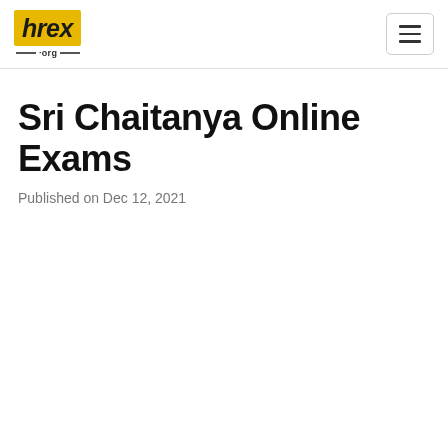hrex .org
Sri Chaitanya Online Exams
Published on Dec 12, 2021